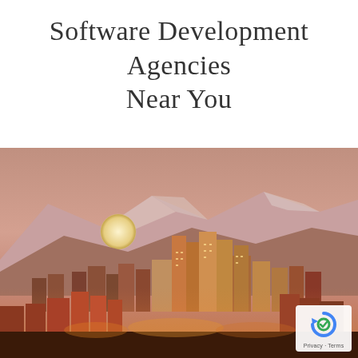Software Development Agencies Near You
[Figure (photo): Cityscape of Los Angeles at dusk/sunset with snow-capped mountains in the background and a full moon rising, warm orange and pink tones.]